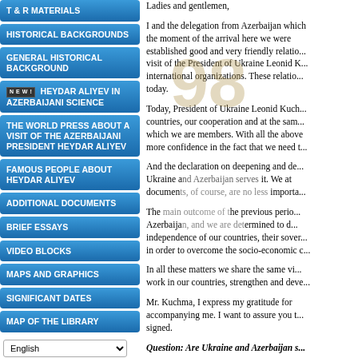T & R MATERIALS
HISTORICAL BACKGROUNDS
GENERAL HISTORICAL BACKGROUND
NEW! HEYDAR ALIYEV IN AZERBAIJANI SCIENCE
THE WORLD PRESS ABOUT A VISIT OF THE AZERBAIJANI PRESIDENT HEYDAR ALIYEV
FAMOUS PEOPLE ABOUT HEYDAR ALIYEV
ADDITIONAL DOCUMENTS
BRIEF ESSAYS
VIDEO BLOCKS
MAPS AND GRAPHICS
SIGNIFICANT DATES
MAP OF THE LIBRARY
Ladies and gentlemen,

I and the delegation from Azerbaijan which... the moment of the arrival here we were established good and very friendly relatio... visit of the President of Ukraine Leonid K... international organizations. These relatio... today.

Today, President of Ukraine Leonid Kuch... countries, our cooperation and at the sam... which we are members. With all the above more confidence in the fact that we need t...

And the declaration on deepening and de... Ukraine and Azerbaijan serves it. We at documents, of course, are no less importa...

The main outcome of the previous perio... Azerbaijan, and we are determined to d... independence of our countries, their sover... in order to overcome the socio-economic c...

In all these matters we share the same vi... work in our countries, strengthen and deve...

Mr. Kuchma, I express my gratitude for accompanying me. I want to assure you t... signed.

Question: Are Ukraine and Azerbaijan s...

Leonid Kuchma: if we take into account t... strategic partnership is not only in the eco...